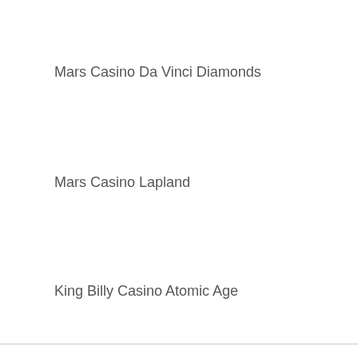Mars Casino Da Vinci Diamonds
Mars Casino Lapland
King Billy Casino Atomic Age
We use cookies on our website to give you the most relevant experience by remembering your preferences and repeat visits. By clicking “Accept”, you consent to the use of ALL the cookies.
Cookie settings
ACCEPT